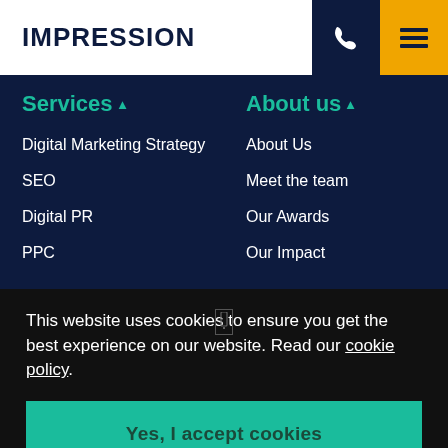IMPRESSION
Services
Digital Marketing Strategy
SEO
Digital PR
PPC
About us
About Us
Meet the team
Our Awards
Our Impact
This website uses cookies to ensure you get the best experience on our website. Read our cookie policy.
Yes, I accept cookies